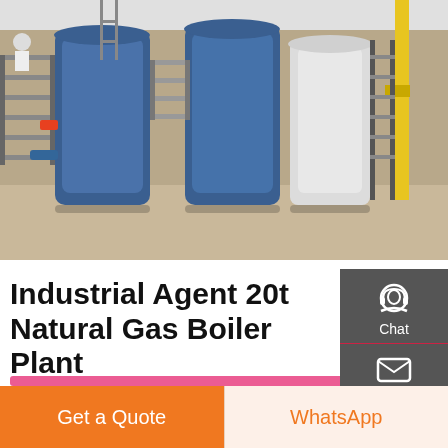[Figure (photo): Industrial boiler plant interior showing large cylindrical blue boilers, steel staircases, scaffolding, and yellow pipes in an industrial facility]
Industrial Agent 20t Natural Gas Boiler Plant
Agent 20t Boiler Plant Azerbaijan This series boiler is horizontal fire tube 3 pass oil gas fired steam boiler. the steam capacity is 1-20t/h. thermal efficiency is 92%. Installation Site This is the 3600000 Kcal biomss fired thermal oil heater installation site in Semarang Indonesia. 60